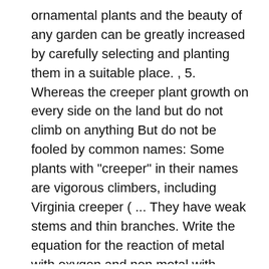ornamental plants and the beauty of any garden can be greatly increased by carefully selecting and planting them in a suitable place. , 5. Whereas the creeper plant growth on every side on the land but do not climb on anything But do not be fooled by common names: Some plants with "creeper" in their names are vigorous climbers, including Virginia creeper ( ... They have weak stems and thin branches. Write the equation for the reaction of metal with oxygen and non metal with oxygen and thenpredict the nature of the substance formed when the oxid Bougainvillea (ꦧꦺꦴꦒ ꦤ꧀ꦮꦶ ꦭꦺꦴꦤ꧀) Bougainvillea are very popular thorny ornamental vines and also known as paperflower. The paperflower are popular ornamental plants and there are 300 varieties of bougainvillea around the world. 2 herbs do not have woody stem. creeper . Here is the list of best wall climbing flowering plants, vines and creepers found in India. Plants with tendrils include: Clematis vine is a bit of